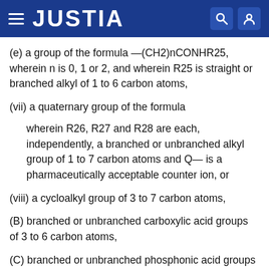JUSTIA
(e) a group of the formula —(CH2)nCONHR25, wherein n is 0, 1 or 2, and wherein R25 is straight or branched alkyl of 1 to 6 carbon atoms,
(vii) a quaternary group of the formula
wherein R26, R27 and R28 are each, independently, a branched or unbranched alkyl group of 1 to 7 carbon atoms and Q— is a pharmaceutically acceptable counter ion, or
(viii) a cycloalkyl group of 3 to 7 carbon atoms,
(B) branched or unbranched carboxylic acid groups of 3 to 6 carbon atoms,
(C) branched or unbranched phosphonic acid groups of 3 to 6 carbon atoms,